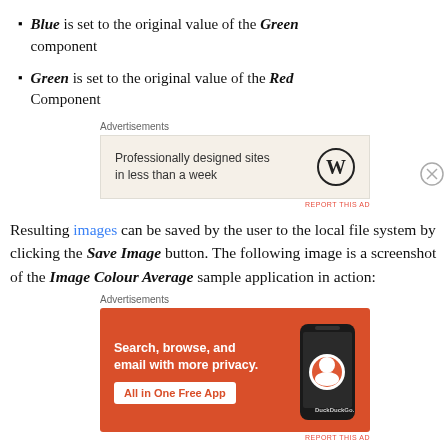Blue is set to the original value of the Green component
Green is set to the original value of the Red Component
[Figure (screenshot): Advertisement box with beige background showing WordPress ad: 'Professionally designed sites in less than a week' with WordPress logo]
Resulting images can be saved by the user to the local file system by clicking the Save Image button. The following image is a screenshot of the Image Colour Average sample application in action:
[Figure (screenshot): Advertisement box with orange background showing DuckDuckGo ad: 'Search, browse, and email with more privacy. All in One Free App' with DuckDuckGo logo and phone graphic]